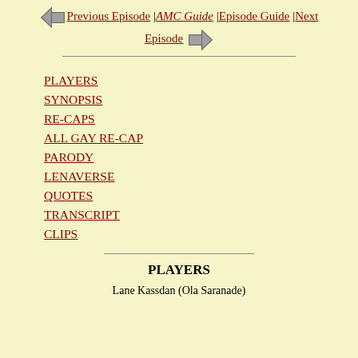Previous Episode | AMC Guide | Episode Guide | Next Episode
PLAYERS
SYNOPSIS
RE-CAPS
ALL GAY RE-CAP
PARODY
LENAVERSE
QUOTES
TRANSCRIPT
CLIPS
PLAYERS
Lane Kassdan (Ola Saranade)